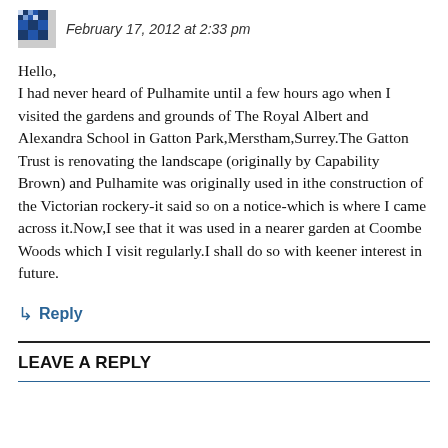February 17, 2012 at 2:33 pm
Hello,
I had never heard of Pulhamite until a few hours ago when I visited the gardens and grounds of The Royal Albert and Alexandra School in Gatton Park,Merstham,Surrey.The Gatton Trust is renovating the landscape (originally by Capability Brown) and Pulhamite was originally used in ithe construction of the Victorian rockery-it said so on a notice-which is where I came across it.Now,I see that it was used in a nearer garden at Coombe Woods which I visit regularly.I shall do so with keener interest in future.
↳ Reply
LEAVE A REPLY